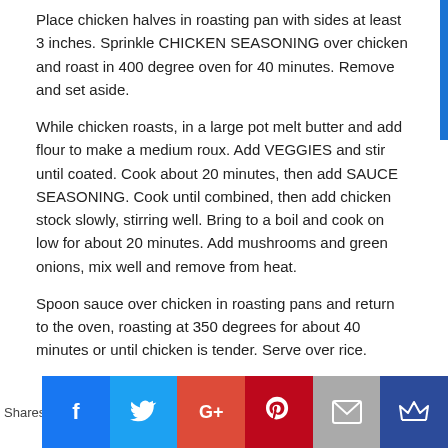Place chicken halves in roasting pan with sides at least 3 inches. Sprinkle CHICKEN SEASONING over chicken and roast in 400 degree oven for 40 minutes. Remove and set aside.
While chicken roasts, in a large pot melt butter and add flour to make a medium roux. Add VEGGIES and stir until coated. Cook about 20 minutes, then add SAUCE SEASONING. Cook until combined, then add chicken stock slowly, stirring well. Bring to a boil and cook on low for about 20 minutes. Add mushrooms and green onions, mix well and remove from heat.
Spoon sauce over chicken in roasting pans and return to the oven, roasting at 350 degrees for about 40 minutes or until chicken is tender. Serve over rice.
Share this:
[Figure (other): Social sharing icons: Twitter (blue circle) and Facebook (blue circle)]
[Figure (other): Social sharing bar with Shares label and buttons for Facebook, Twitter, Google+, Pinterest, Email, and Crown/Bloglovin]